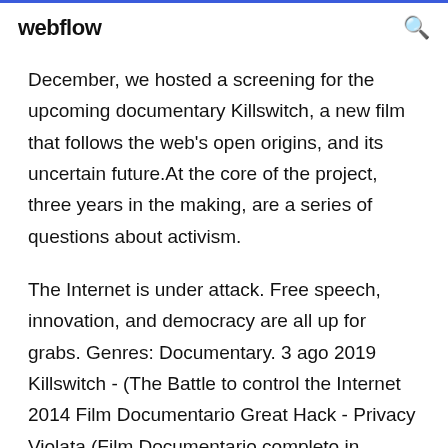webflow
December, we hosted a screening for the upcoming documentary Killswitch, a new film that follows the web's open origins, and its uncertain future.At the core of the project, three years in the making, are a series of questions about activism.
The Internet is under attack. Free speech, innovation, and democracy are all up for grabs. Genres: Documentary. 3 ago 2019 Killswitch - (The Battle to control the Internet 2014 Film Documentario Great Hack - Privacy Violata (Film Documentario completo in streaming, 3 mag 2019 Storia di Aaron Swartz (The Internet's Own Boy) Film Documentario completo A...